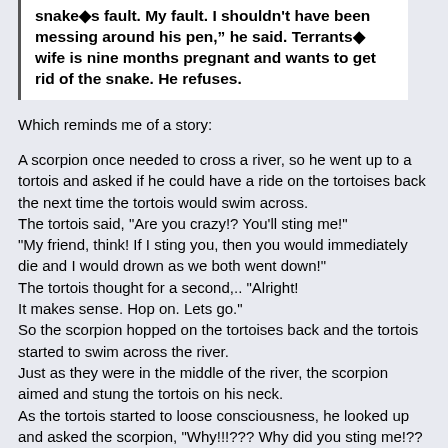snake♦s fault. My fault. I shouldn't have been messing around his pen," he said. Terrants♦ wife is nine months pregnant and wants to get rid of the snake. He refuses.
Which reminds me of a story:
A scorpion once needed to cross a river, so he went up to a tortois and asked if he could have a ride on the tortoises back the next time the tortois would swim across.
The tortois said, "Are you crazy!? You'll sting me!"
"My friend, think! If I sting you, then you would immediately die and I would drown as we both went down!"
The tortois thought for a second,.. "Alright!
It makes sense. Hop on. Lets go."
So the scorpion hopped on the tortoises back and the tortois started to swim across the river.
Just as they were in the middle of the river, the scorpion aimed and stung the tortois on his neck.
As the tortois started to loose consciousness, he looked up and asked the scorpion, "Why!!!??? Why did you sting me!?? Now we will both die!"
The scorpion replied, "My good ignorant friend! Can you not see!? I am